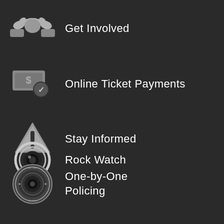Get Involved
Online Ticket Payments
Stay Informed
Rock Watch
One-by-One Policing